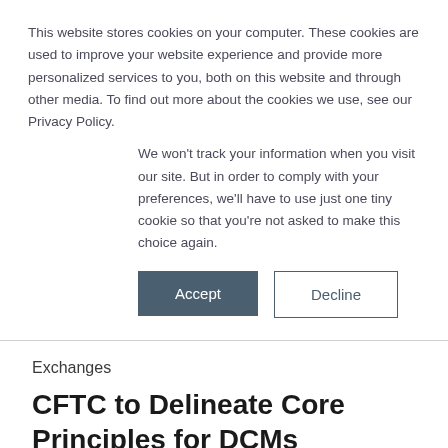This website stores cookies on your computer. These cookies are used to improve your website experience and provide more personalized services to you, both on this website and through other media. To find out more about the cookies we use, see our Privacy Policy.
We won't track your information when you visit our site. But in order to comply with your preferences, we'll have to use just one tiny cookie so that you're not asked to make this choice again.
Accept
Decline
Exchanges
CFTC to Delineate Core Principles for DCMs
05.07.2012